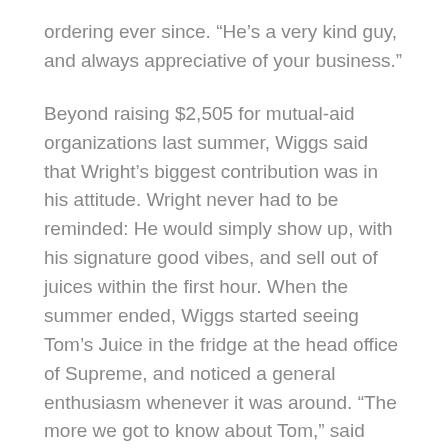ordering ever since. “He’s a very kind guy, and always appreciative of your business.”
Beyond raising $2,505 for mutual-aid organizations last summer, Wiggs said that Wright’s biggest contribution was in his attitude. Wright never had to be reminded: He would simply show up, with his signature good vibes, and sell out of juices within the first hour. When the summer ended, Wiggs started seeing Tom’s Juice in the fridge at the head office of Supreme, and noticed a general enthusiasm whenever it was around. “The more we got to know about Tom,” said Wiggs, “the more everyone was obsessed with Tom.”
Eat like the experts